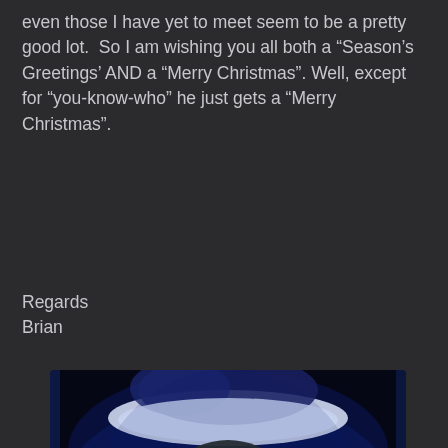even those I have yet to meet seem to be a pretty good lot.  So I am wishing you all both a “Season’s Greetings’ AND a “Merry Christmas”. Well, except for “you-know-who” he just gets a “Merry Christmas”.
Regards
Brian
[Figure (photo): Photo of the Grinch character wearing a Santa hat, with glowing yellow-orange eyes, dark greenish fur, illuminated by blue lighting, with a sinister expression.]